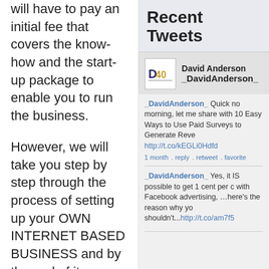will have to pay an initial fee that covers the know-how and the start-up package to enable you to run the business.
However, we will take you step by step through the process of setting up your OWN INTERNET BASED BUSINESS and by the end of it… you certainly won't need to spend money on a business opportunity! You may even end up selling one
Recent Tweets
David Anderson _DavidAnderson_
_DavidAnderson_ Quick no morning, let me share with 10 Easy Ways to Use Paid Surveys to Generate Reve http://t.co/kEGLi0Hdfd
1 month . reply . retweet . favorite
_DavidAnderson_ Yes, it IS possible to get 1 cent per c with Facebook advertising, …here's the reason why yo shouldn't...http://t.co/am7f5